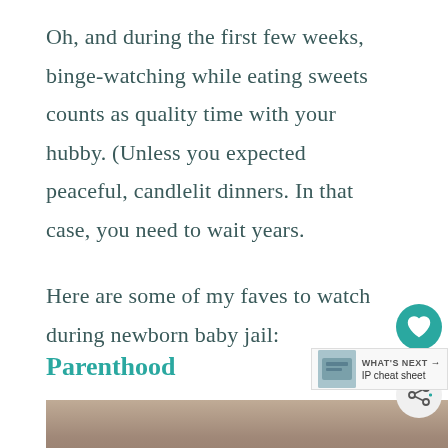Oh, and during the first few weeks, binge-watching while eating sweets counts as quality time with your hubby. (Unless you expected peaceful, candlelit dinners. In that case, you need to wait years.
Here are some of my faves to watch during newborn baby jail:
Parenthood
[Figure (photo): Group photo of cast members from TV show Parenthood, standing outdoors in front of trees]